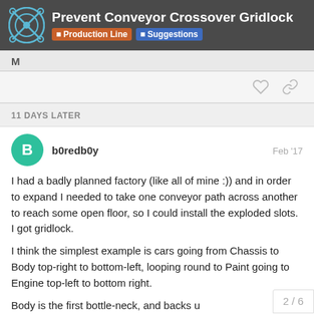Prevent Conveyor Crossover Gridlock — Production Line | Suggestions
M
11 DAYS LATER
b0redb0y — Feb '17
I had a badly planned factory (like all of mine :)) and in order to expand I needed to take one conveyor path across another to reach some open floor, so I could install the exploded slots. I got gridlock.
I think the simplest example is cars going from Chassis to Body top-right to bottom-left, looping round to Paint going to Engine top-left to bottom right.
Body is the first bottle-neck, and backs u
2 / 6